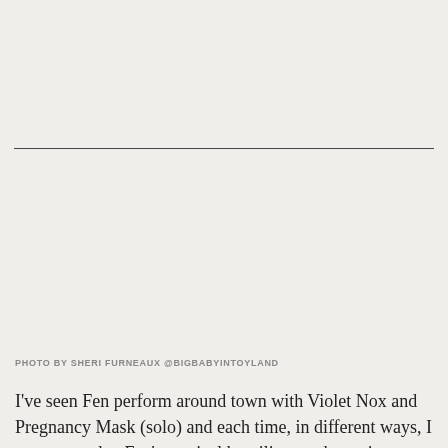PHOTO BY SHERI FURNEAUX @BIGBABYINTOYLAND
I've seen Fen perform around town with Violet Nox and Pregnancy Mask (solo) and each time, in different ways, I was amazed at Fen's musical humility yet dynamism. This Saturday,